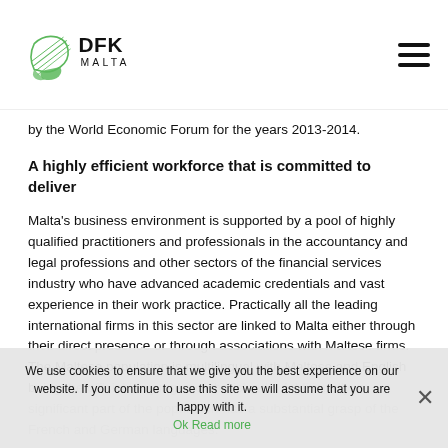DFK Malta
by the World Economic Forum for the years 2013-2014.
A highly efficient workforce that is committed to deliver
Malta's business environment is supported by a pool of highly qualified practitioners and professionals in the accountancy and legal professions and other sectors of the financial services industry who have advanced academic credentials and vast experience in their work practice. Practically all the leading international firms in this sector are linked to Malta either through their direct presence or through associations with Maltese firms. The Maltese population is multilingual with Maltese and English being the official languages of the islands. Additionally, a significant part of the population has a substantial grasp of the French and German languages.
We use cookies to ensure that we give you the best experience on our website. If you continue to use this site we will assume that you are happy with it. Ok Read more